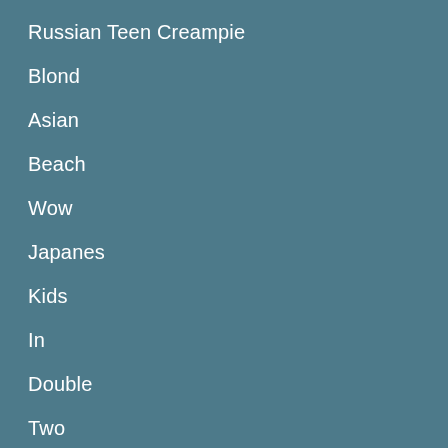Russian Teen Creampie
Blond
Asian
Beach
Wow
Japanes
Kids
In
Double
Two
Drunk
Bikini
Interracial
Throated
Phone